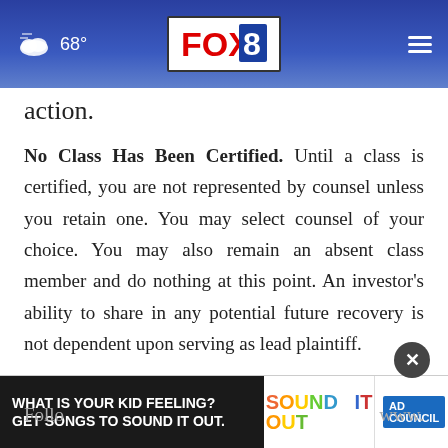68° FOX 8
action.
No Class Has Been Certified. Until a class is certified, you are not represented by counsel unless you retain one. You may select counsel of your choice. You may also remain an absent class member and do nothing at this point. An investor's ability to share in any potential future recovery is not dependent upon serving as lead plaintiff.
Follo www.
[Figure (screenshot): Advertisement banner: 'WHAT IS YOUR KID FEELING? GET SONGS TO SOUND IT OUT.' with Sound It Out and Ad Council / pivotal branding]